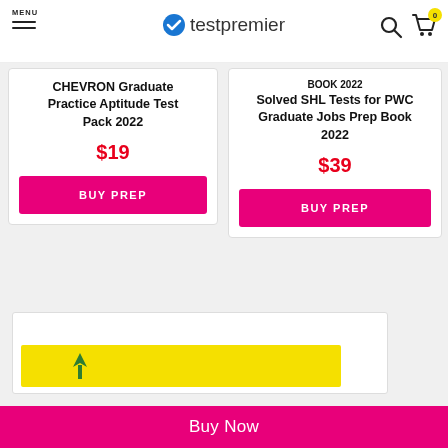MENU | testpremier
CHEVRON Graduate Practice Aptitude Test Pack 2022
$19
BUY PREP
Solved SHL Tests for PWC Graduate Jobs Prep Book 2022
$39
BUY PREP
Buy Now